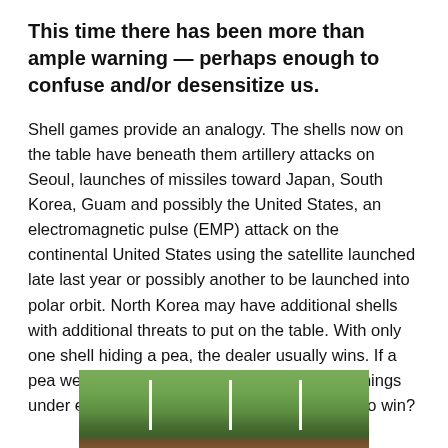This time there has been more than ample warning — perhaps enough to confuse and/or desensitize us.
Shell games provide an analogy. The shells now on the table have beneath them artillery attacks on Seoul, launches of missiles toward Japan, South Korea, Guam and possibly the United States, an electromagnetic pulse (EMP) attack on the continental United States using the satellite launched late last year or possibly another to be launched into polar orbit. North Korea may have additional shells with additional threats to put on the table. With only one shell hiding a pea, the dealer usually wins. If a pea were hidden under one and highly lethal things under each of the others, who would be likely to win?
[Figure (photo): Partial photo showing green grass field with white stakes/markers visible, and what appears to be a red object in the lower right corner.]